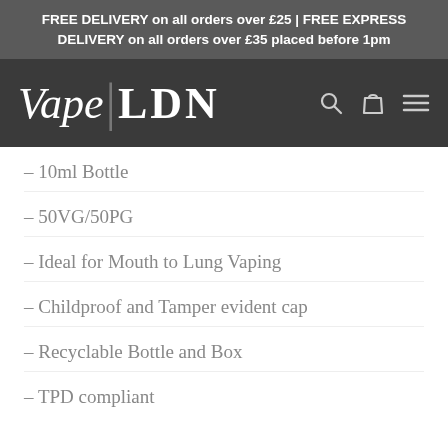FREE DELIVERY on all orders over £25 | FREE EXPRESS DELIVERY on all orders over £35 placed before 1pm
[Figure (logo): Vape|LDN logo with search, cart, and menu icons on dark background]
– 10ml Bottle
– 50VG/50PG
– Ideal for Mouth to Lung Vaping
– Childproof and Tamper evident cap
– Recyclable Bottle and Box
– TPD compliant